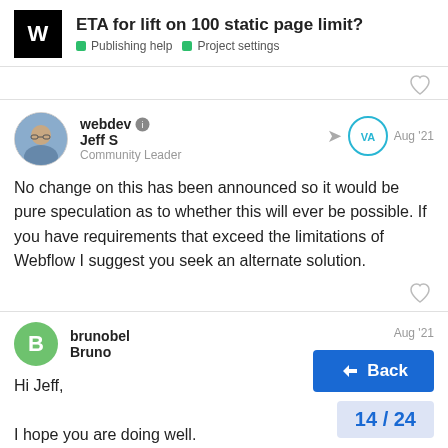ETA for lift on 100 static page limit? | Publishing help | Project settings
No change on this has been announced so it would be pure speculation as to whether this will ever be possible. If you have requirements that exceed the limitations of Webflow I suggest you seek an alternate solution.
Hi Jeff,

I hope you are doing well.